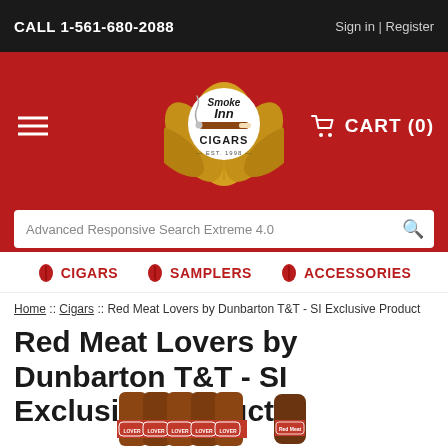CALL 1-561-680-2088 | Sign in | Register
[Figure (logo): Smoke Inn Cigars logo - circular logo with tobacco leaves, cigar, EST 1996]
CART (0)
Advanced Responsive Search Extreme 4.0
CIGARS
SAMPLERS
ACCESSORIES
Home :: Cigars :: Red Meat Lovers by Dunbarton T&T - SI Exclusive Product
Red Meat Lovers by Dunbarton T&T - SI Exclusive Product
[Figure (photo): Product photo of Red Meat Lovers cigars by Dunbarton T&T - a bundle of cigars with red band labels on left, single cigar on right]